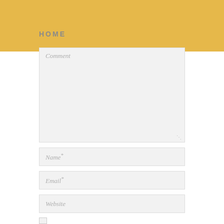HOME
[Figure (screenshot): Comment text area form field with placeholder text 'Comment']
[Figure (screenshot): Name input field with placeholder text 'Name*']
[Figure (screenshot): Email input field with placeholder text 'Email*']
[Figure (screenshot): Website input field with placeholder text 'Website']